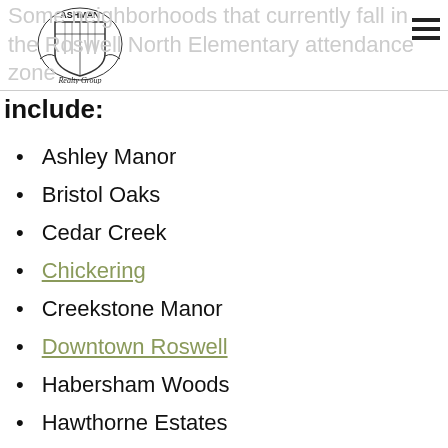Ashman Realty Group — Some neighborhoods that currently fall in the Roswell North Elementary attendance zone
include:
Ashley Manor
Bristol Oaks
Cedar Creek
Chickering
Creekstone Manor
Downtown Roswell
Habersham Woods
Hawthorne Estates
Inverness